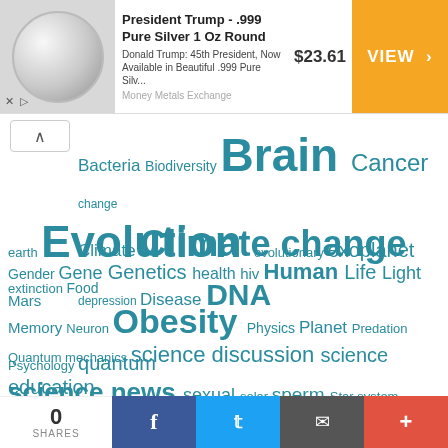[Figure (other): Advertisement banner for President Trump .999 Pure Silver 1 Oz Round coin showing coin image, description, price $23.61 and VIEW button]
[Figure (infographic): Tag cloud of science topics in teal/dark cyan color with varying font sizes: Bacteria, Biodiversity, Brain, Cancer, change, Climate, Climate change, depression, Disease, DNA, earth, Evolution, evolutionary, exoplanet, extinction, Food, Gender, Gene, Genetics, health, hiv, Human, Life, Light, Mars, Memory, Neuron, Obesity, Physics, Planet, Predation, Psychology, quantum, Quantum mechanics, science discussion, science education, science news, sexual, solar, sperm, Star, system, Testosterone, Water]
© 2022 ScienceAGoGo. All Rights Reserved.
Powered by WordPress. Designed by WooThemes